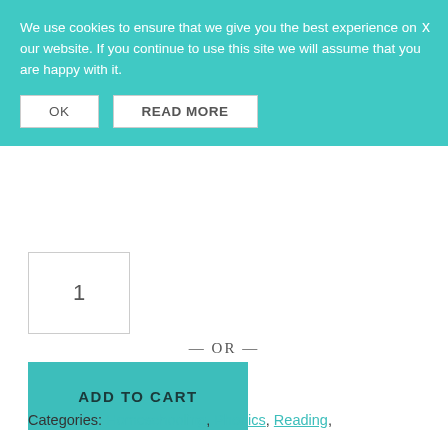to take off with reading! Learn to Read is designed just for that. This is within the last unit} and has fun activities for short vowel review with CVC words.
We use cookies to ensure that we give you the best experience on our website. If you continue to use this site we will assume that you are happy with it.
1
— OR —
ADD TO CART
Categories: Homeschooling, Phonics, Reading,